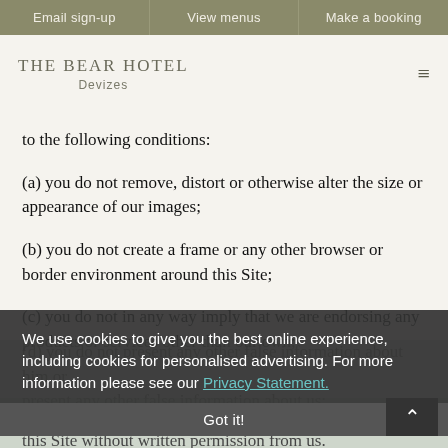Email sign-up | View menus | Make a booking
[Figure (logo): The Bear Hotel Devizes logo with hamburger menu icon]
to the following conditions:
(a) you do not remove, distort or otherwise alter the size or appearance of our images;
(b) you do not create a frame or any other browser or border environment around this Site;
(c) you do not in any way imply that we are endorsing any products or services other than our own;
(d) you do not present any other false information about him or present any other false information about us;
We use cookies to give you the best online experience, including cookies for personalised advertising. For more information please see our Privacy Statement.
(e) you do not otherwise use any trade marks displayed on this Site without written permission from us;